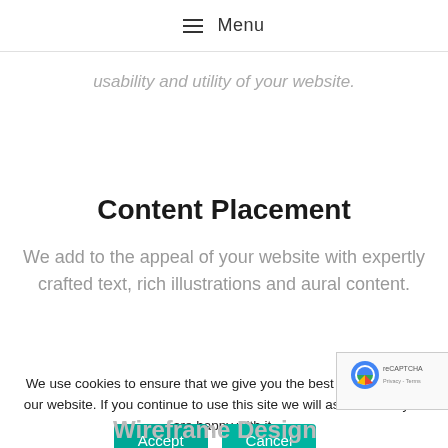Menu
usability and utility of your website.
Content Placement
We add to the appeal of your website with expertly crafted text, rich illustrations and aural content.
We use cookies to ensure that we give you the best experience on our website. If you continue to use this site we will assume that you are happy with it.
Accept Cancel
Wireframe Design